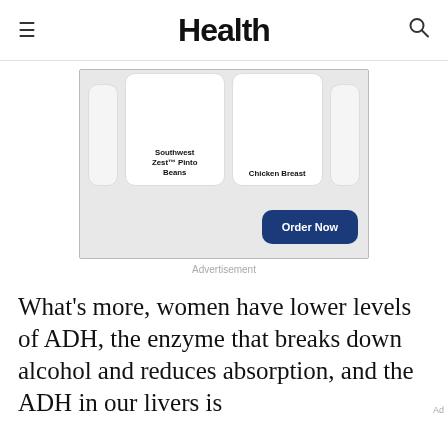Health
[Figure (other): Advertisement banner showing food product cards: Southwest Zest™ Pinto Beans, Chicken Breast, and a partial third card, with an 'Order Now' button]
Advertisement
What's more, women have lower levels of ADH, the enzyme that breaks down alcohol and reduces absorption, and the ADH in our livers is